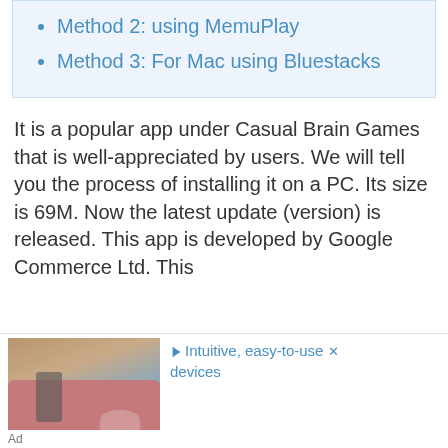Method 2: using MemuPlay
Method 3: For Mac using Bluestacks
It is a popular app under Casual Brain Games that is well-appreciated by users. We will tell you the process of installing it on a PC. Its size is 69M. Now the latest update (version) is released. This app is developed by Google Commerce Ltd. This
[Figure (photo): Advertisement image showing a person sitting on a pink sofa with text: Intuitive, easy-to-use devices]
Ad